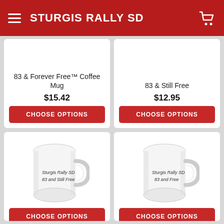STURGIS RALLY SD
[Figure (photo): Product card top-left: Choose Options button with product name '83 & Forever Free™ Coffee Mug' and price $15.42]
[Figure (photo): Product card top-right: Choose Options button with product name '83 & Still Free' and price $12.95]
[Figure (photo): Product card bottom-left: White coffee mug with text 'Sturgis Rally SD 83 and Still Free', Choose Options button]
[Figure (photo): Product card bottom-right: White coffee mug with text 'Sturgis Rally SD 83 and Free', Choose Options button]